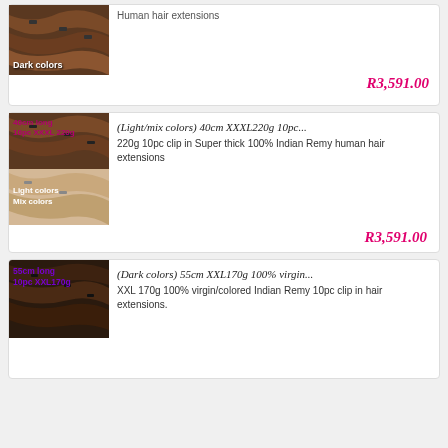[Figure (photo): Dark colored clip-in hair extensions product image with 'Dark colors' label]
Human hair extensions
R3,591.00
[Figure (photo): Light/mix colored clip-in hair extensions product image with '40cm long 10pc XXXL 220g' and 'Light colors Mix colors' labels]
(Light/mix colors) 40cm XXXL220g 10pc...
220g 10pc clip in Super thick 100% Indian Remy human hair extensions
R3,591.00
[Figure (photo): Dark colored clip-in hair extensions product image with '55cm long 10pc XXL170g' label]
(Dark colors) 55cm XXL170g 100% virgin...
XXL 170g 100% virgin/colored Indian Remy 10pc clip in hair extensions.